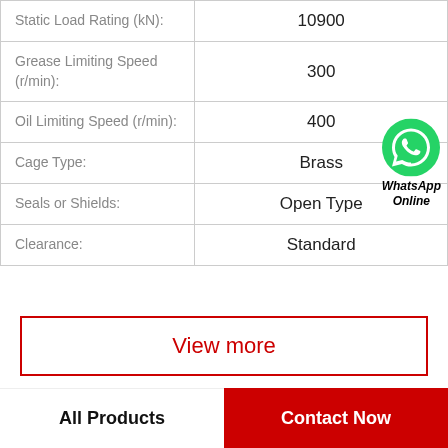| Property | Value |
| --- | --- |
| Static Load Rating (kN): | 10900 |
| Grease Limiting Speed (r/min): | 300 |
| Oil Limiting Speed (r/min): | 400 |
| Cage Type: | Brass |
| Seals or Shields: | Open Type |
| Clearance: | Standard |
View more
All Products | Contact Now